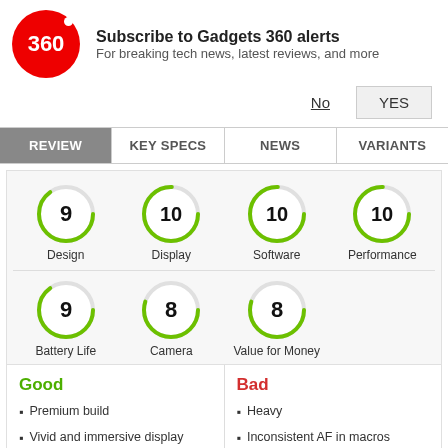[Figure (logo): Gadgets 360 red circle logo with '360' text]
Subscribe to Gadgets 360 alerts
For breaking tech news, latest reviews, and more
No   YES
| REVIEW | KEY SPECS | NEWS | VARIANTS |
| --- | --- | --- | --- |
[Figure (infographic): Score circles: Design 9, Display 10, Software 10, Performance 10, Battery Life 9, Camera 8, Value for Money 8]
Good
Premium build
Vivid and immersive display
Powerful stereo speakers
Bad
Heavy
Inconsistent AF in macros
4K videos have oversaturated colours